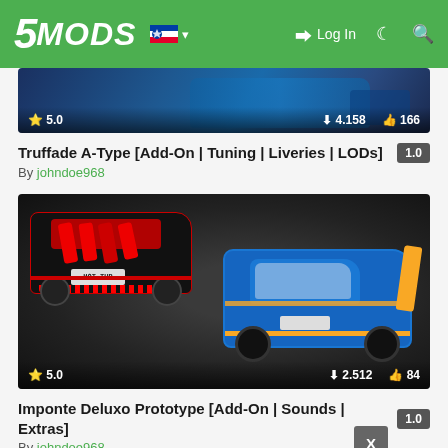5MODS — Log In
[Figure (screenshot): Partial thumbnail of a blue race car mod, showing star rating 5.0, downloads 4.158, likes 166]
Truffade A-Type [Add-On | Tuning | Liveries | LODs]  1.0
By johndoe968
[Figure (screenshot): Thumbnail showing a black car with red engine exposed and a blue/yellow sports car on dark background, star rating 5.0, downloads 2.512, likes 84]
Imponte Deluxo Prototype [Add-On | Sounds | Extras]  1.0
By johndoe968
[Figure (screenshot): Partial thumbnail of another car mod at bottom of page]